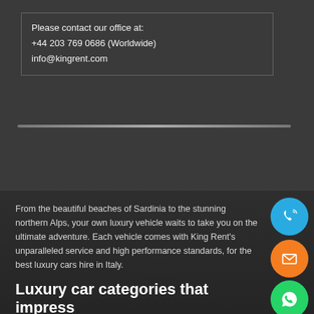Please contact our office at:
+44 203 769 0686 (Worldwide)
info@kingrent.com
From the beautiful beaches of Sardinia to the stunning northern Alps, your own luxury vehicle waits to take you on the ultimate adventure. Each vehicle comes with King Rent's unparalleled service and high performance standards, for the best luxury cars hire in Italy.
Luxury car categories that impress